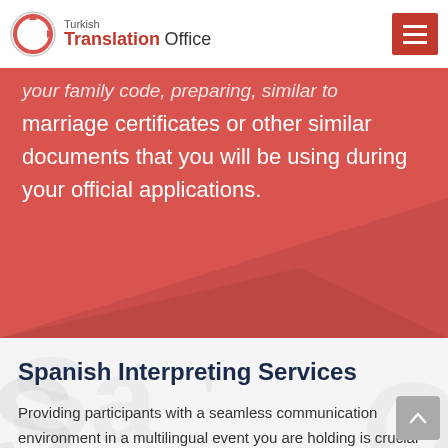Turkish Translation Office
your family code, please use, preparing, similar to marriage certificates or other similar documents that you will be using during your official applications.
Spanish Interpreting Services
Providing participants with a seamless communication environment in a multilingual event you are holding is crucial for the success of that event. If you are organizing an international conference or you need Spanish interpretation for a doctor's appointment or an internal